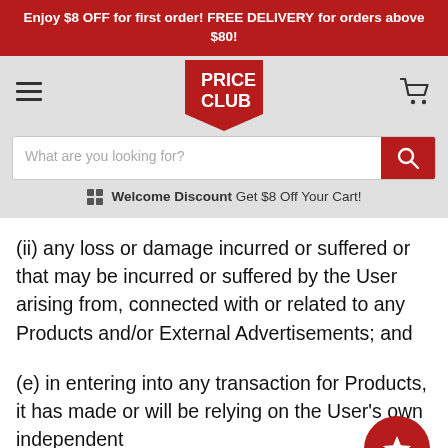Enjoy $8 OFF for first order! FREE DELIVERY for orders above $80!
[Figure (logo): Price Club logo - red shield/badge shape with white text PRICE CLUB]
Welcome Discount Get $8 Off Your Cart!
(ii) any loss or damage incurred or suffered or that may be incurred or suffered by the User arising from, connected with or related to any Products and/or External Advertisements; and
(e) in entering into any transaction for Products, it has made or will be relying on the User's own independent